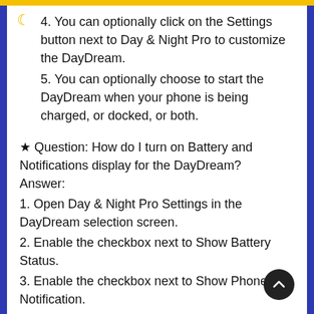4. You can optionally click on the Settings button next to Day & Night Pro to customize the DayDream.
5. You can optionally choose to start the DayDream when your phone is being charged, or docked, or both.
★ Question: How do I turn on Battery and Notifications display for the DayDream? Answer:
1. Open Day & Night Pro Settings in the DayDream selection screen.
2. Enable the checkbox next to Show Battery Status.
3. Enable the checkbox next to Show Phone Notification.